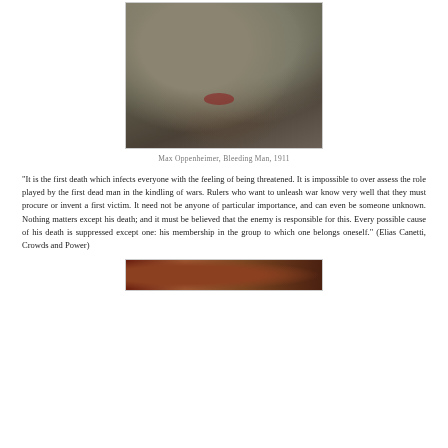[Figure (photo): Max Oppenheimer, Bleeding Man, 1911 — dark expressionist painting showing two hunched human figures in grey-brown tones with red accent]
Max Oppenheimer, Bleeding Man, 1911
"It is the first death which infects everyone with the feeling of being threatened. It is impossible to over assess the role played by the first dead man in the kindling of wars. Rulers who want to unleash war know very well that they must procure or invent a first victim. It need not be anyone of particular importance, and can even be someone unknown. Nothing matters except his death; and it must be believed that the enemy is responsible for this. Every possible cause of his death is suppressed except one: his membership in the group to which one belongs oneself." (Elias Canetti, Crowds and Power)
[Figure (photo): Second painting — dark red and brown expressionist artwork, partially visible at bottom of page]